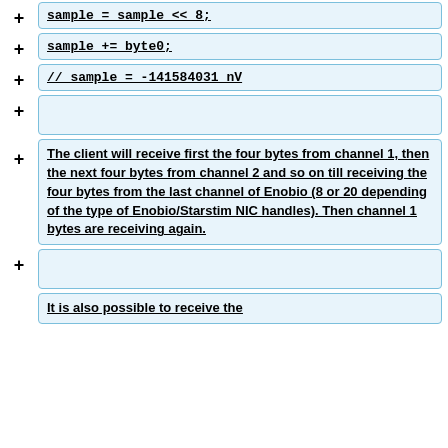sample = sample << 8;
sample += byte0;
// sample = -141584031 nV
The client will receive first the four bytes from channel 1, then the next four bytes from channel 2 and so on till receiving the four bytes from the last channel of Enobio (8 or 20 depending of the type of Enobio/Starstim NIC handles). Then channel 1 bytes are receiving again.
It is also possible to receive the